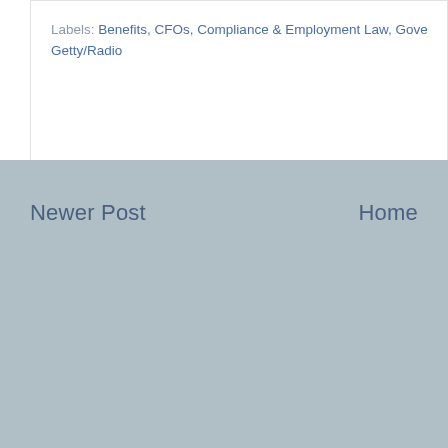Labels: Benefits, CFOs, Compliance & Employment Law, Government H Getty/Radio
Newer Post
Home